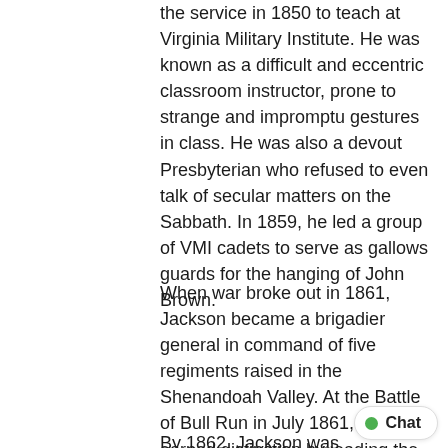the service in 1850 to teach at Virginia Military Institute. He was known as a difficult and eccentric classroom instructor, prone to strange and impromptu gestures in class. He was also a devout Presbyterian who refused to even talk of secular matters on the Sabbath. In 1859, he led a group of VMI cadets to serve as gallows guards for the hanging of John Brown.
When war broke out in 1861, Jackson became a brigadier general in command of five regiments raised in the Shenandoah Valley. At the Battle of Bull Run in July 1861, Jackson earned distinction by leading the attack that secured an advantage for the Confederates. Confederate General Bernard Bee, trying to inspire his troops, exclaimed “there stands Jackson like a stone wall,” and provided one of the most enduring monikers in history.
By 1862, Jackson was recognized as one of the